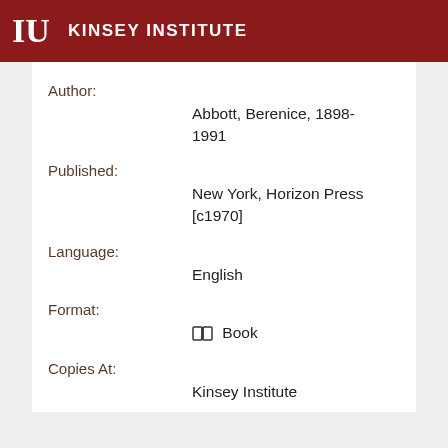KINSEY INSTITUTE
Author:
Abbott, Berenice, 1898-1991
Published:
New York, Horizon Press [c1970]
Language:
English
Format:
Book
Copies At:
Kinsey Institute
1 - 48 of 48